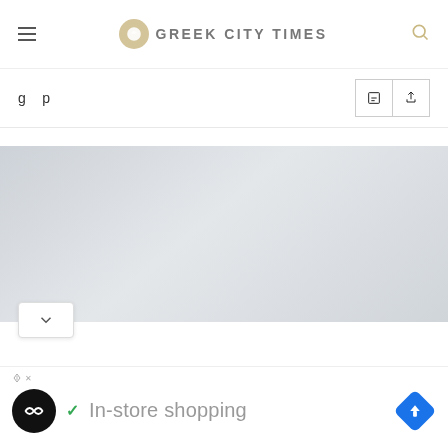GREEK CITY TIMES
[Figure (screenshot): Partially visible article title text and social action buttons (comment and share) below the header]
[Figure (photo): Large light grey placeholder image area for an article photo with a chevron/down arrow button overlay]
[Figure (infographic): Ad strip showing a black circular logo with double-arrow icon, a green checkmark, the text 'In-store shopping', and a blue diamond navigation icon on the right]